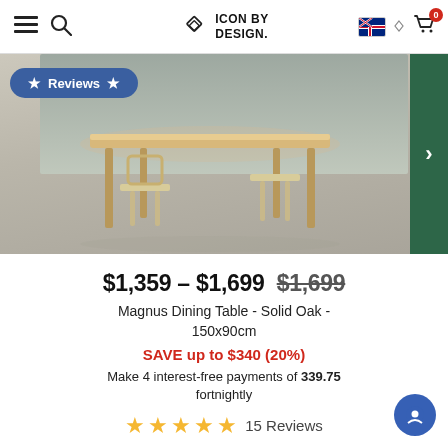Icon By Design — navigation header with hamburger menu, search, logo, Australia flag, and cart (0 items)
[Figure (photo): Product photo of Magnus Dining Table - Solid Oak - 150x90cm with wooden chairs and stools on polished light floor, with a 'Reviews' badge overlay and green right-arrow navigation button]
$1,359 – $1,699  $1,699 (strikethrough)
Magnus Dining Table - Solid Oak - 150x90cm
SAVE up to $340 (20%)
Make 4 interest-free payments of 339.75 fortnightly
★★★★★ 15 Reviews